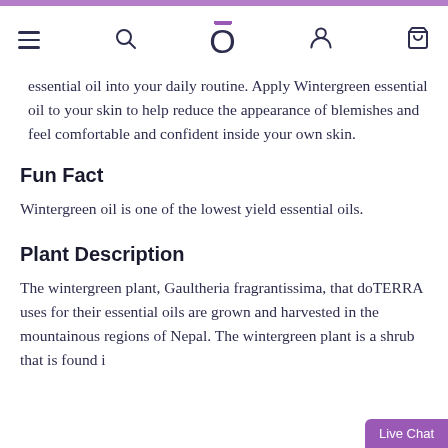Navigation bar with menu, search, logo, user, and cart icons
essential oil into your daily routine. Apply Wintergreen essential oil to your skin to help reduce the appearance of blemishes and feel comfortable and confident inside your own skin.
Fun Fact
Wintergreen oil is one of the lowest yield essential oils.
Plant Description
The wintergreen plant, Gaultheria fragrantissima, that doTERRA uses for their essential oils are grown and harvested in the mountainous regions of Nepal. The wintergreen plant is a shrub that is found i…